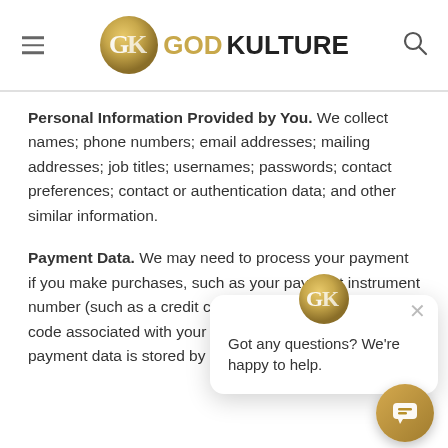GODKULTURE
Personal Information Provided by You. We collect names; phone numbers; email addresses; mailing addresses; job titles; usernames; passwords; contact preferences; contact or authentication data; and other similar information.
Payment Data. We may collect data necessary to process your payment if you make purchases, such as your payment instrument number (such as a credit card number), and the security code associated with your payment instrument. All payment data is stored by Stripe.